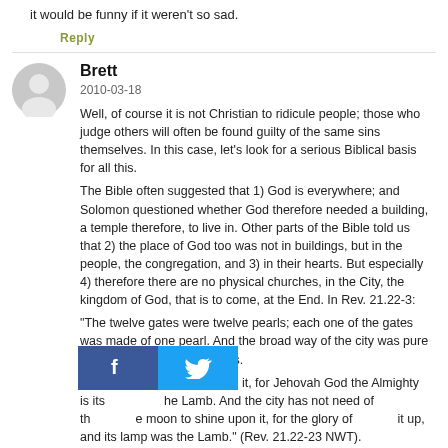it would be funny if it weren't so sad.
Reply
Brett
2010-03-18
Well, of course it is not Christian to ridicule people; those who judge others will often be found guilty of the same sins themselves. In this case, let's look for a serious Biblical basis for all this.
The Bible often suggested that 1) God is everywhere; and Solomon questioned whether God therefore needed a building, a temple therefore, to live in. Other parts of the Bible told us that 2) the place of God too was not in buildings, but in the people, the congregation, and 3) in their hearts. But especially 4) therefore there are no physical churches, in the City, the kingdom of God, that is to come, at the End. In Rev. 21.22-3:
“The twelve gates were twelve pearls; each one of the gates was made of one pearl. And the broad way of the city was pure gold, as transparent as glass.
And I did not see a temple in it, for Jehovah God the Almighty is its temple, also the Lamb. And the city has not need of the sun nor of the moon to shine upon it, for the glory of God lighted it up, and its lamp was the Lamb.” (Rev. 21.22-23 NWT).